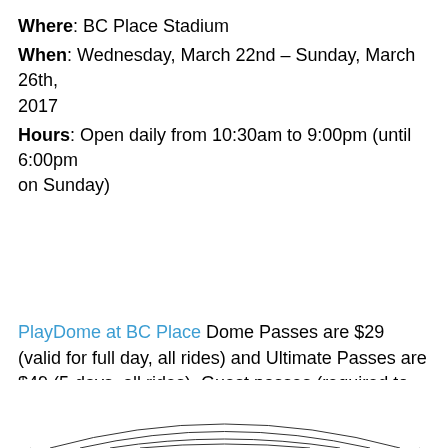Where: BC Place Stadium
When: Wednesday, March 22nd – Sunday, March 26th, 2017
Hours: Open daily from 10:30am to 9:00pm (until 6:00pm on Sunday)
PlayDome at BC Place Dome Passes are $29 (valid for full day, all rides) and Ultimate Passes are $49 (5-days, all rides). Guest passes (required to enter as a spectator) are $8 and children under 2 years old are free (although for safety reasons they cannot go on the rides). Tickets are available at the door and online, or phone 604-669-2300.
[Figure (illustration): Partial illustration visible at the bottom of the page showing a radial fan/starburst pattern in black and white lines]